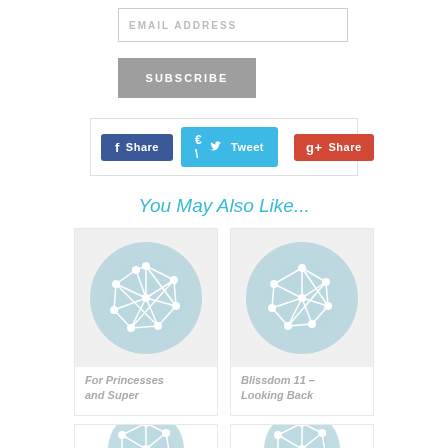EMAIL ADDRESS
SUBSCRIBE
[Figure (screenshot): Social share buttons: Facebook Share, Twitter Tweet, Pinterest with count 0, Google+ Share]
You May Also Like...
[Figure (illustration): Card with network graph icon and text: For Princesses and Super]
[Figure (illustration): Card with network graph icon and text: Blissdom 11 – Looking Back]
[Figure (illustration): Card with network graph icon (partially visible)]
[Figure (illustration): Card with network graph icon (partially visible)]